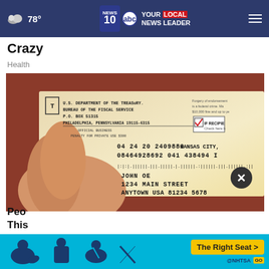78° | NEWS 10 ABC YOUR LOCAL NEWS LEADER
Crazy
Health
[Figure (photo): U.S. Treasury check / stimulus check envelope being held, showing return address: U.S. DEPARTMENT OF THE TREASURY, BUREAU OF THE FISCAL SERVICE, P.O. BOX 51315, PHILADELPHIA, PENNSYLVANIA 19115-6315, OFFICIAL BUSINESS, PENALTY FOR PRIVATE USE $300. Address fields show: 04 24 20 2409880 KANSAS CITY, 08464928692 041 438494 I, barcode, JOHN OE, 1234 MAIN STREET, ANYTOWN USA 81234 5678. IF RECIPIENT checkbox shown.]
Peo
This
[Figure (infographic): NHTSA ad banner: The Right Seat > with car seat safety icons on blue background]